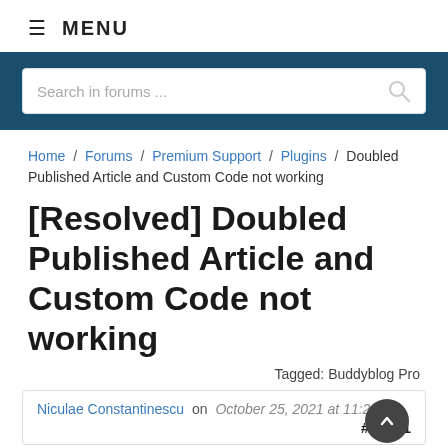≡ MENU
[Figure (other): Blue search bar section with search input field and magnifying glass icon. Placeholder text: Search in forums ...]
Home / Forums / Premium Support / Plugins / Doubled Published Article and Custom Code not working
[Resolved] Doubled Published Article and Custom Code not working
Tagged: Buddyblog Pro
Niculae Constantinescu on October 25, 2021 at 11:23 am #41231